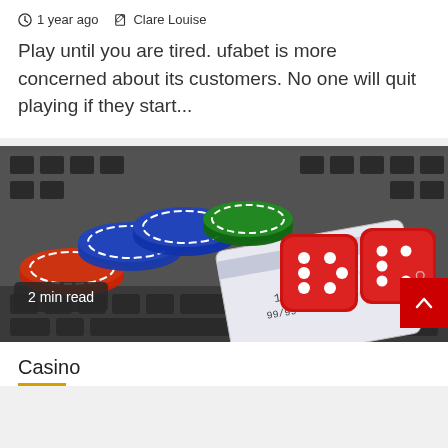1 year ago  Clare Louise
Play until you are tired. ufabet is more concerned about its customers. No one will quit playing if they start...
[Figure (photo): Photo of casino chips (red, blue, green), two red dice, and a credit card on a laptop keyboard]
2 min read
Casino